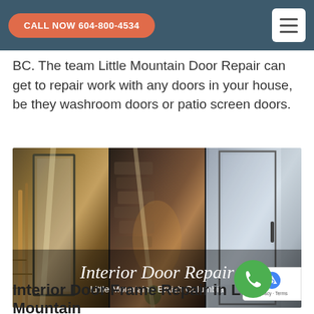CALL NOW 604-800-4534
BC. The team Little Mountain Door Repair can get to repair work with any doors in your house, be they washroom doors or patio screen doors.
[Figure (photo): Composite photo of three interior glass door panels in different settings, with overlay text reading 'Interior Door Repair' and 'Little Mountain - British Columbia']
Interior Door Frame Repair in Little Mountain